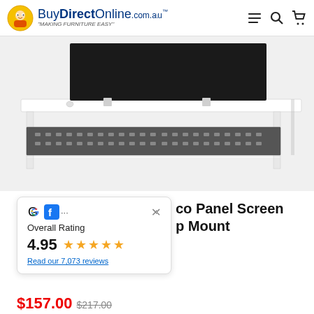BuyDirectOnline.com.au - MAKING FURNITURE EASY
[Figure (photo): Office desk with white surface, grey metal frame with perforated modesty panel, and black acoustic privacy screen mounted at the back of the desk surface]
[Figure (infographic): Rating popup overlay showing Google, Facebook and other platform icons, Overall Rating 4.95 with 5 stars, Read our 7,073 reviews]
co Panel Screen p Mount
$157.00  $217.00